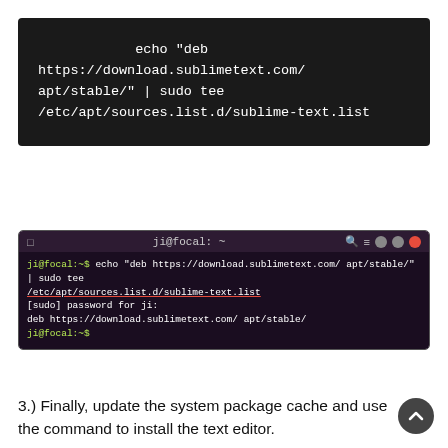[Figure (screenshot): Dark terminal/code block showing the command: echo "deb https://download.sublimetext.com/ apt/stable/" | sudo tee /etc/apt/sources.list.d/sublime-text.list]
[Figure (screenshot): Ubuntu terminal screenshot showing: ji@focal:~$ echo "deb https://download.sublimetext.com/ apt/stable/" | sudo tee /etc/apt/sources.list.d/sublime-text.list [sudo] password for ji: deb https://download.sublimetext.com/ apt/stable/ ji@focal:~$]
3.) Finally, update the system package cache and use the command to install the text editor.